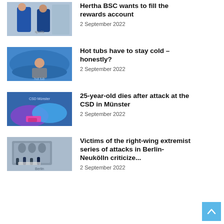[Figure (photo): Two people in blue sports jerseys outdoors]
Hertha BSC wants to fill the rewards account
2 September 2022
[Figure (photo): Woman relaxing in a blue inflatable hot tub]
Hot tubs have to stay cold – honestly?
2 September 2022
[Figure (photo): Colorful floats with spray cans at CSD parade in Münster]
25-year-old dies after attack at the CSD in Münster
2 September 2022
[Figure (photo): People standing outside a building with banners]
Victims of the right-wing extremist series of attacks in Berlin-Neukölln criticize...
2 September 2022